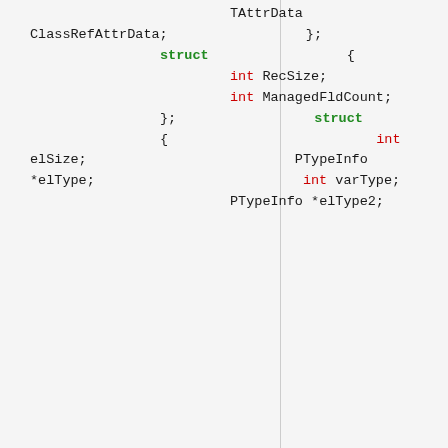TAttrData ClassRefAttrData;
        };
        struct
        {
                int RecSize;
                int ManagedFldCount;
        };
        struct
        {
                int elSize;
                PTypeInfo *elType;
                int varType;
                PTypeInfo *elType2;